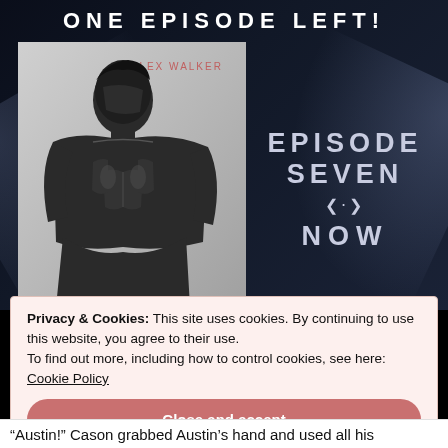ONE EPISODE LEFT!
[Figure (illustration): Book cover for K. Alex Walker featuring a shirtless male figure in black and white on a gray background, with the author name 'K. ALEX WALKER' in pink text at the top.]
EPISODE SEVEN NOW
Privacy & Cookies: This site uses cookies. By continuing to use this website, you agree to their use.
To find out more, including how to control cookies, see here:
Cookie Policy
Close and accept
“Austin!” Cason grabbed Austin’s hand and used all his